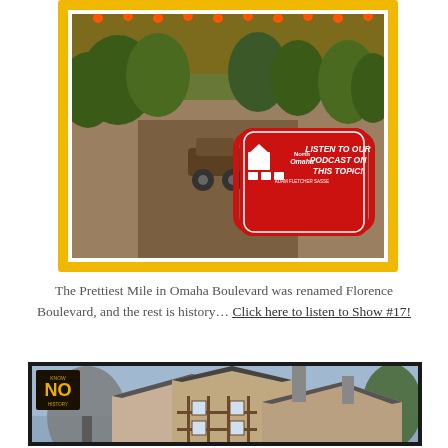[Figure (photo): Vintage photo of a tree-lined boulevard with an early automobile, inside a stamp-style yellow zigzag border. A red badge overlay reads 'LISTEN TO OUR PODCAST ON THIS TOPIC!' with 'North Omaha' logo and 'ADAM FLETCHER SASSE' text.]
The Prettiest Mile in Omaha Boulevard was renamed Florence Boulevard, and the rest is history… Click here to listen to Show #17!
[Figure (photo): Photo of Tudor-style houses with a 'Know NO History' badge in the upper left corner. The image shows multiple peaked rooflines against a blue sky.]